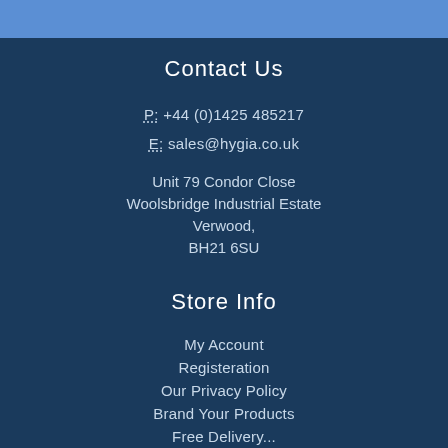Contact Us
P: +44 (0)1425 485217
E: sales@hygia.co.uk
Unit 79 Condor Close
Woolsbridge Industrial Estate
Verwood,
BH21 6SU
Store Info
My Account
Registeration
Our Privacy Policy
Brand Your Products
Free Delivery...